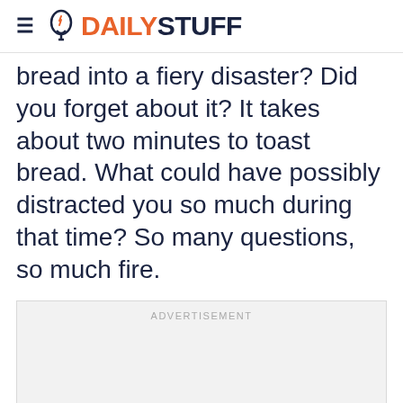DAILYSTUFF
bread into a fiery disaster? Did you forget about it? It takes about two minutes to toast bread. What could have possibly distracted you so much during that time? So many questions, so much fire.
[Figure (other): Advertisement placeholder box with label ADVERTISEMENT]